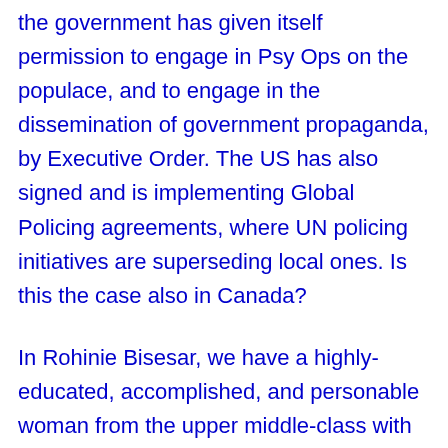the government has given itself permission to engage in Psy Ops on the populace, and to engage in the dissemination of government propaganda, by Executive Order. The US has also signed and is implementing Global Policing agreements, where UN policing initiatives are superseding local ones. Is this the case also in Canada?
In Rohinie Bisesar, we have a highly-educated, accomplished, and personable woman from the upper middle-class with a known personality of calm, focus, and gentleness, and no